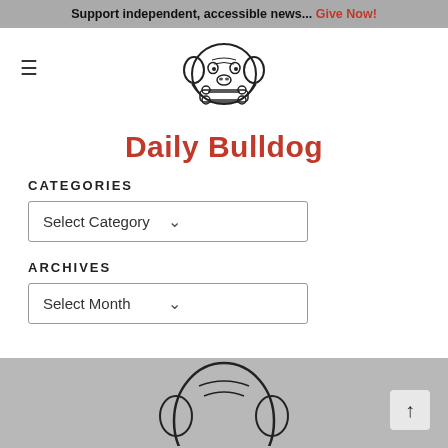Support independent, accessible news... Give Now!
[Figure (logo): Daily Bulldog bulldog mascot logo — line drawing of a bulldog holding a bone/newspaper in its mouth]
Daily Bulldog
CATEGORIES
Select Category
ARCHIVES
Select Month
[Figure (logo): Partial Daily Bulldog logo visible in footer gray area, partially cut off]